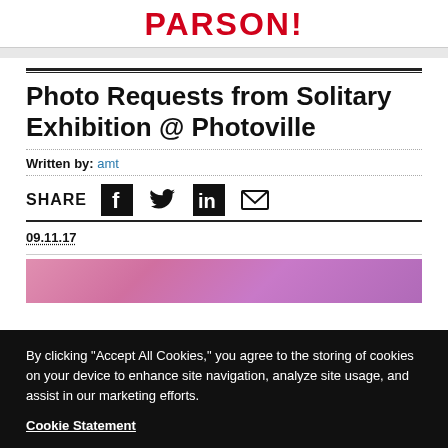PARSON!
Photo Requests from Solitary Exhibition @ Photoville
Written by: amt
SHARE [Facebook] [Twitter] [LinkedIn] [Email]
09.11.17
[Figure (photo): Pink/purple blurred photo strip at bottom of article area]
By clicking “Accept All Cookies,” you agree to the storing of cookies on your device to enhance site navigation, analyze site usage, and assist in our marketing efforts.

Cookie Statement